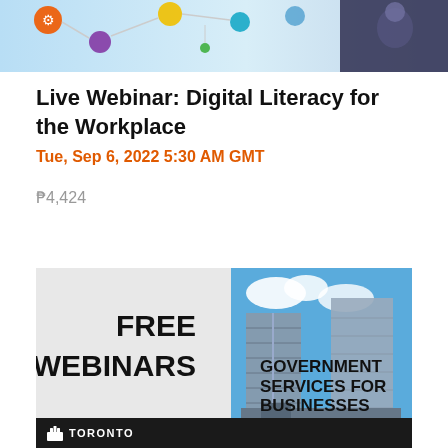[Figure (illustration): Top banner image showing digital/technology icons and a man in dark clothing on the right side, with blue and teal background]
Live Webinar: Digital Literacy for the Workplace
Tue, Sep 6, 2022 5:30 AM GMT
₱4,424
[Figure (infographic): Advertisement banner with white/gray background showing FREE WEBINARS text on the left, a photo of Toronto City Hall building in the center, and GOVERNMENT SERVICES FOR BUSINESSES text on the right]
Toronto